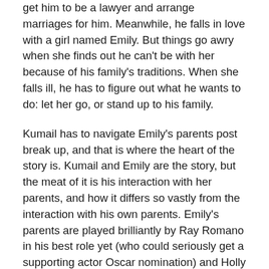get him to be a lawyer and arrange marriages for him. Meanwhile, he falls in love with a girl named Emily. But things go awry when she finds out he can't be with her because of his family's traditions. When she falls ill, he has to figure out what he wants to do: let her go, or stand up to his family.
Kumail has to navigate Emily's parents post break up, and that is where the heart of the story is. Kumail and Emily are the story, but the meat of it is his interaction with her parents, and how it differs so vastly from the interaction with his own parents. Emily's parents are played brilliantly by Ray Romano in his best role yet (who could seriously get a supporting actor Oscar nomination) and Holly Hunter who goes through a wonderful character arc of her own. My favorite scenes in the movie were when it was just Kumail, Ray and Holly bouncing off of each other.
It handled all aspects of the movie well. Emily's parents' relationship is explored deeply and it adds to the depth of